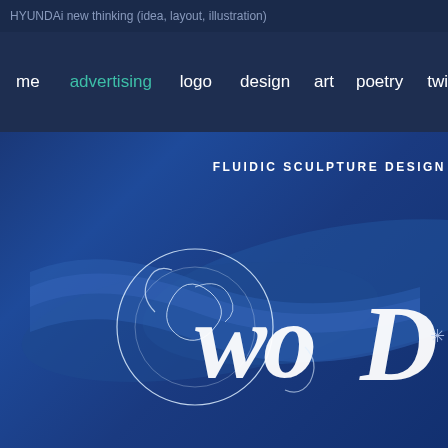HYUNDAi new thinking (idea, layout, illustration)
[Figure (screenshot): Website navigation bar with dark navy background showing menu items: me, advertising (highlighted in teal/green), logo, design, art, poetry, twins]
FLUIDIC SCULPTURE DESIGN
[Figure (illustration): Fluidic sculpture design artwork showing a large stylized script text 'wo' with decorative swirls and circular ornamental elements in white/light blue on a deep blue background. The letters have ribbon-like three-dimensional quality.]